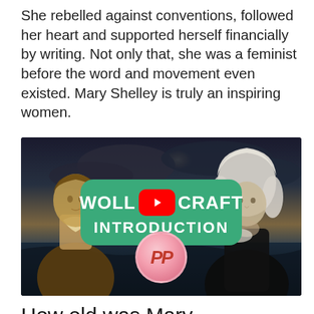She rebelled against conventions, followed her heart and supported herself financially by writing. Not only that, she was a feminist before the word and movement even existed. Mary Shelley is truly an inspiring women.
[Figure (screenshot): YouTube video thumbnail for 'Wollstonecraft Introduction' featuring two historical portrait figures against a stormy ocean background, with a green rounded banner showing the video title, a YouTube play button, and a pink PP logo circle at the bottom.]
How old was Mary Wollstonecraft when she